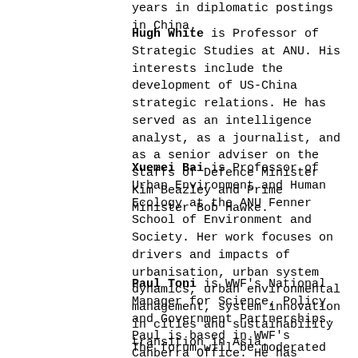years in diplomatic postings in China.
Hugh White is Professor of Strategic Studies at ANU. His interests include the development of US-China strategic relations. He has served as an intelligence analyst, as a journalist, and as a senior adviser on the staffs of Defence Minister Kim Beazley and Prime Minister Bob Hawke.
Xuemei Bai is Professor of Urban Environment and Human Ecology at the ANU Fenner School of Environment and Society. Her work focuses on drivers and impacts of urbanisation, urban system dynamics, urban environmental management, system innovation in cities and sustainability transition in Asia.
Paul Toni is WWF's National Manager for Science, Policy and Government Partnerships. Paul is based in WWF's Canberra Office. He has previously worked as WWF's Program Leader on climate change.
The forum will be moderated by Dr Frank Jotzo,